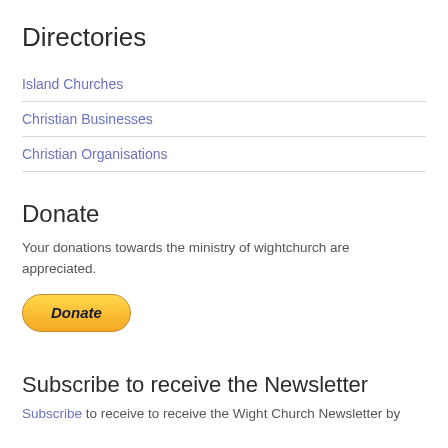Directories
Island Churches
Christian Businesses
Christian Organisations
Donate
Your donations towards the ministry of wightchurch are appreciated.
[Figure (other): PayPal Donate button with yellow/gold gradient and italic bold text]
Subscribe to receive the Newsletter
Subscribe to receive to receive the Wight Church Newsletter by